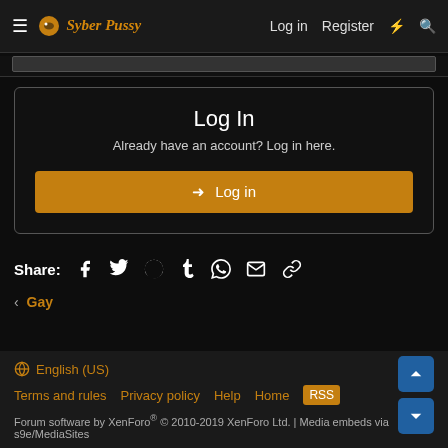Syber Pussy — Log in | Register
Log In
Already have an account? Log in here.
→ Log in
Share:
< Gay
English (US)
Terms and rules | Privacy policy | Help | Home
Forum software by XenForo® © 2010-2019 XenForo Ltd. | Media embeds via s9e/MediaSites